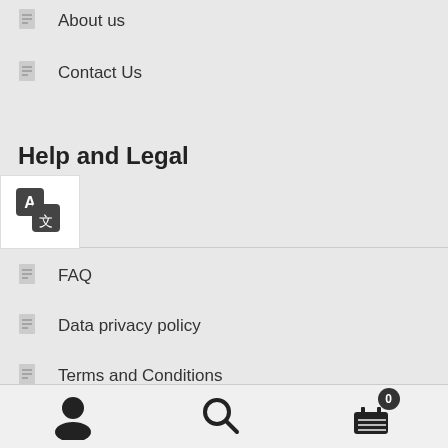About us
Contact Us
Help and Legal
[Figure (logo): Translation/language switcher icon with letter A and Chinese character]
FAQ
Data privacy policy
Terms and Conditions
[Figure (infographic): Payment method logos: CB/Carte Bleue, MasterCard, VISA, PayPal]
[Figure (infographic): Bottom navigation bar with user/account icon, search icon, and shopping cart icon with badge showing 0]